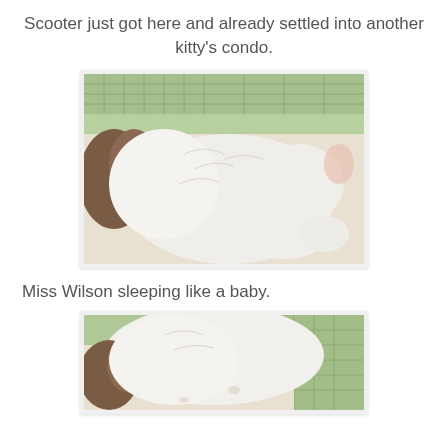Scooter just got here and already settled into another kitty's condo.
[Figure (photo): A fluffy white and brown cat curled up sleeping on a floral blanket inside a cat condo with wire mesh visible in the background and greenery outside.]
Miss Wilson sleeping like a baby.
[Figure (photo): A white and brown cat sleeping on a floral blanket inside a cat condo, similar setting with wire mesh and greenery visible, photo partially cropped at bottom.]